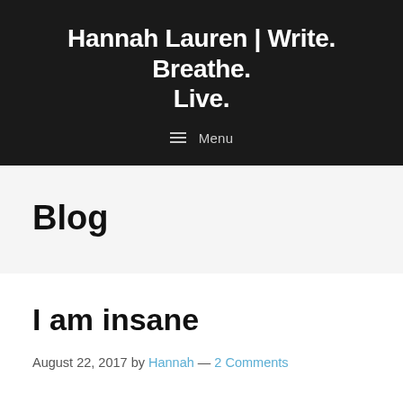Hannah Lauren | Write. Breathe. Live.
≡  Menu
Blog
I am insane
August 22, 2017 by Hannah — 2 Comments